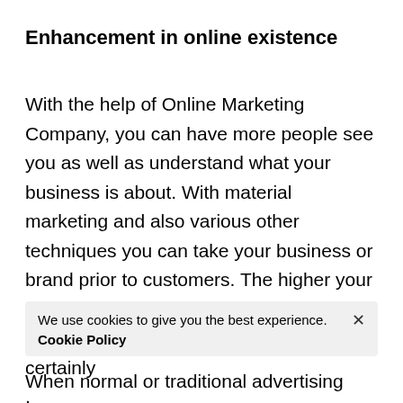Enhancement in online existence
With the help of Online Marketing Company, you can have more people see you as well as understand what your business is about. With material marketing and also various other techniques you can take your business or brand prior to customers. The higher your online visibility is, the a lot more the acknowledgment for your brand will certainly .
We use cookies to give you the best experience. Cookie Policy
When normal or traditional advertising